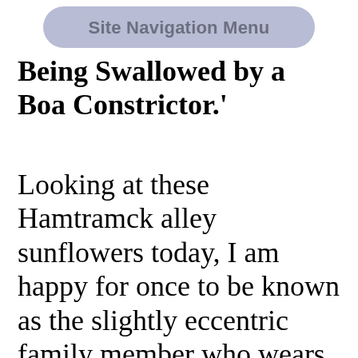Site Navigation Menu
Being Swallowed by a Boa Constrictor.'
Looking at these Hamtramck alley sunflowers today, I am happy for once to be known as the slightly eccentric family member who wears pajama bottoms out of the house. Because last week, my aunt